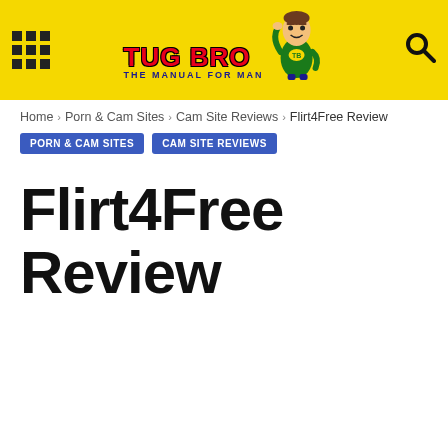[Figure (logo): Tug Bro website header with yellow background, grid icon on left, Tug Bro logo in center with mascot character, search icon on right]
Home › Porn & Cam Sites › Cam Site Reviews › Flirt4Free Review
PORN & CAM SITES   CAM SITE REVIEWS
Flirt4Free Review